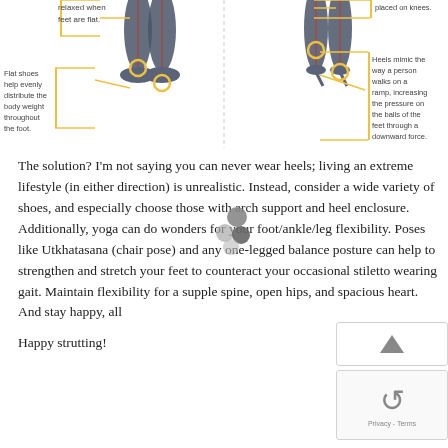[Figure (infographic): Lower portion of an infographic comparing flat shoes vs high heels. Left side shows legs with flat shoes and callout labels: 'relaxed when feet are flat.' and 'Flat shoes help evenly distribute the body weight throughout the foot.' Right side shows legs in high heels with callout labels: 'placed on knees.' and 'Heels mimic the way a person walks on a ramp, increasing the pressure on the balls of the feet through a downward force.' Yellow circle highlights and bracket lines connect labels to anatomical points.]
The solution? I'm not saying you can never wear heels; living an extreme lifestyle (in either direction) is unrealistic. Instead, consider a wide variety of shoes, and especially choose those with arch support and heel enclosure. Additionally, yoga can do wonders for your foot/ankle/leg flexibility. Poses like Utkhatasana (chair pose) and any one-legged balance posture can help to strengthen and stretch your feet to counteract your occasional stiletto wearing gait. Maintain flexibility for a supple spine, open hips, and spacious heart. And stay happy, all
Happy strutting!